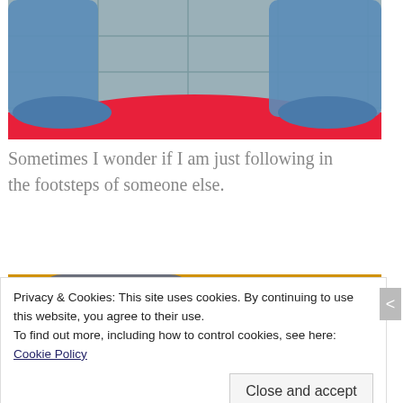[Figure (photo): Top-down photo of feet in blue pants/shoes standing on a tiled floor with a red fabric visible]
Sometimes I wonder if I am just following in the footsteps of someone else.
[Figure (photo): Top-down photo of a white sneaker stepping near a footprint outline on a golden/orange floor]
Privacy & Cookies: This site uses cookies. By continuing to use this website, you agree to their use.
To find out more, including how to control cookies, see here: Cookie Policy
Close and accept